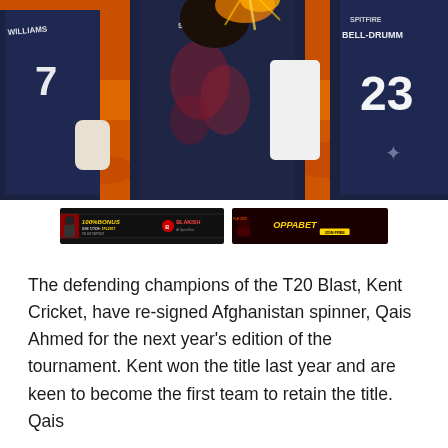[Figure (photo): Cricket players in dark navy blue jerseys celebrating on the field with orange-lit crowd background. Player numbers 7 and 23 visible. 'BELL-DRUMM' visible on back of one jersey. 'SPITFIRE' sponsor logo visible.]
[Figure (infographic): Two advertisement banners side by side. Left: dark background with '100% BONUS' text in yellow, 'USE CODE: 1PL2017', 'BLAKISH' in red. Right: dark background with 'OPPABET' in yellow text and 'JOIN FREE' button.]
The defending champions of the T20 Blast, Kent Cricket, have re-signed Afghanistan spinner, Qais Ahmed for the next year's edition of the tournament. Kent won the title last year and are keen to become the first team to retain the title. Qais